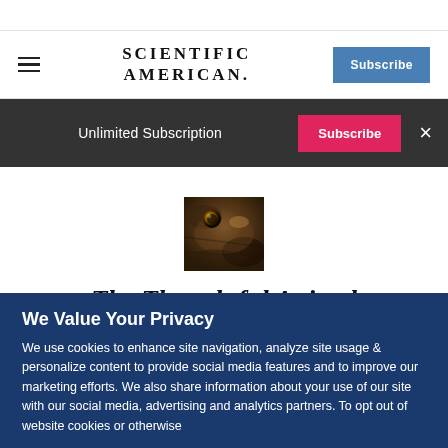SCIENTIFIC AMERICAN
Unlimited Subscription  Subscribe  ×
[Figure (photo): Small thumbnail photo of an animal (appears to be a primate or reptile close-up)]
The Thoughtful Animal
We Value Your Privacy
We use cookies to enhance site navigation, analyze site usage & personalize content to provide social media features and to improve our marketing efforts. We also share information about your use of our site with our social media, advertising and analytics partners. To opt out of website cookies or otherwise